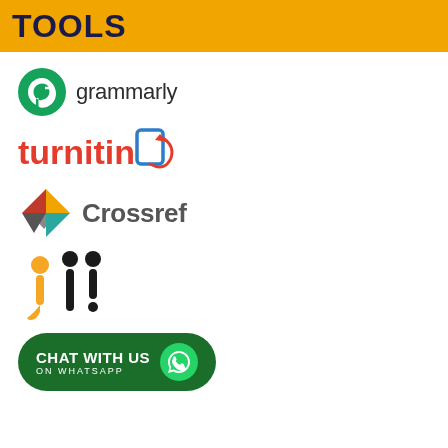TOOLS
[Figure (logo): Grammarly logo — green circle with stylized G, followed by 'grammarly' in dark sans-serif text]
[Figure (logo): Turnitin logo — 'turnitin' in red text with a blue document/arrow icon]
[Figure (logo): Crossref logo — colorful triangular/arrow icon in red, yellow, gray, teal, followed by 'Crossref' in gray text]
[Figure (logo): IJI logo — orange circle person and two black stylized figures forming 'iji']
[Figure (logo): Green rounded button reading 'CHAT WITH US ON WHATSAPP' with WhatsApp icon]